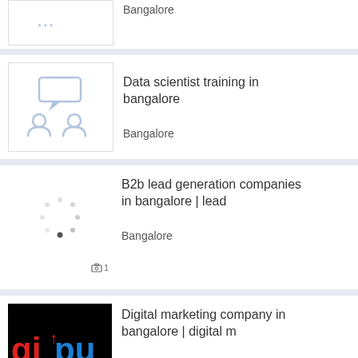Bangalore
[Figure (screenshot): Training icon showing two people with speech bubble]
Data scientist training in bangalore
Bangalore
[Figure (screenshot): Loading spinner dots]
B2b lead generation companies in bangalore | lead
Bangalore
[Figure (screenshot): Digital marketing company logo - gipush]
Digital marketing company in bangalore | digital m
Bangalore
[Figure (screenshot): Post Free button overlay]